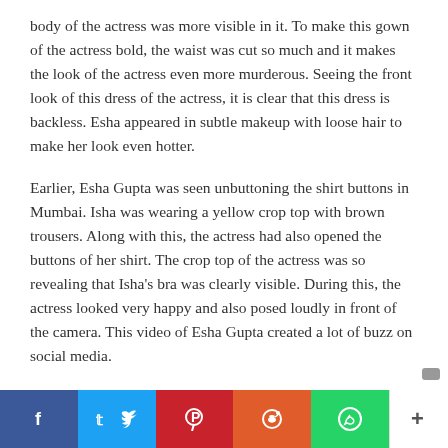body of the actress was more visible in it. To make this gown of the actress bold, the waist was cut so much and it makes the look of the actress even more murderous. Seeing the front look of this dress of the actress, it is clear that this dress is backless. Esha appeared in subtle makeup with loose hair to make her look even hotter.
Earlier, Esha Gupta was seen unbuttoning the shirt buttons in Mumbai. Isha was wearing a yellow crop top with brown trousers. Along with this, the actress had also opened the buttons of her shirt. The crop top of the actress was so revealing that Isha's bra was clearly visible. During this, the actress looked very happy and also posed loudly in front of the camera. This video of Esha Gupta created a lot of buzz on social media.
Esha Gupta was recently seen in the role of Sonia in 'Ashram 3'. In this web series, Esha Gupta gave many intimate scenes with Bobby Deol. These scenes were so bold that even their
Social share bar: Facebook, Twitter, Pinterest, Reddit, WhatsApp, More